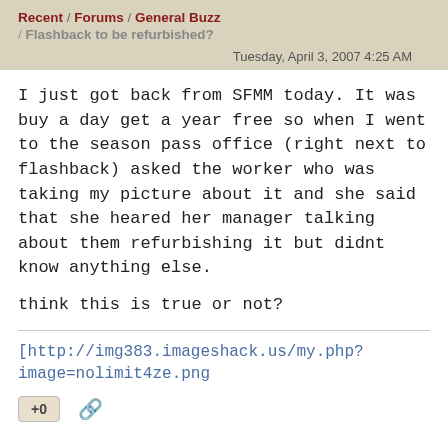Recent / Forums / General Buzz / Flashback to be refurbished?
Tuesday, April 3, 2007 4:25 AM
I just got back from SFMM today. It was buy a day get a year free so when I went to the season pass office (right next to flashback) asked the worker who was taking my picture about it and she said that she heared her manager talking about them refurbishing it but didnt know anything else.

think this is true or not?
[http://img383.imageshack.us/my.php?image=nolimit4ze.png
+0